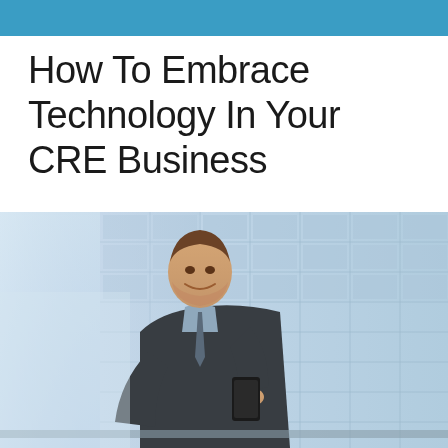How To Embrace Technology In Your CRE Business
[Figure (photo): A smiling businessman in a dark suit looking down at his smartphone, standing in front of a modern glass office building with blue-tinted windows.]